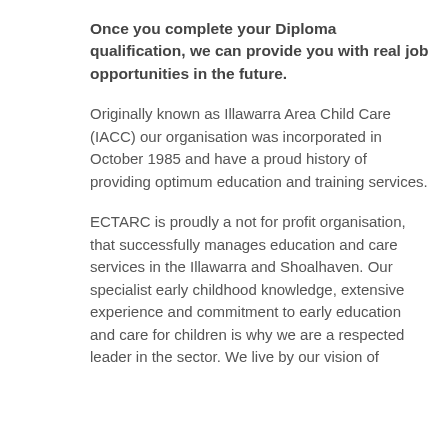Once you complete your Diploma qualification, we can provide you with real job opportunities in the future.
Originally known as Illawarra Area Child Care (IACC) our organisation was incorporated in October 1985 and have a proud history of providing optimum education and training services.
ECTARC is proudly a not for profit organisation, that successfully manages education and care services in the Illawarra and Shoalhaven. Our specialist early childhood knowledge, extensive experience and commitment to early education and care for children is why we are a respected leader in the sector. We live by our vision of